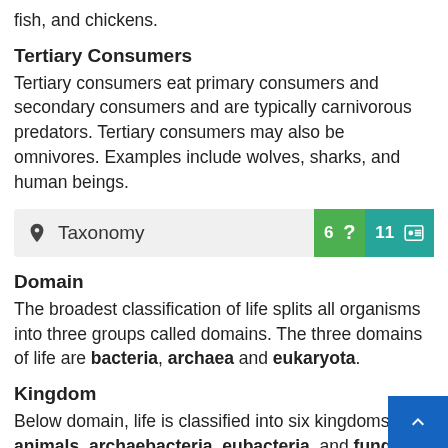fish, and chickens.
Tertiary Consumers
Tertiary consumers eat primary consumers and secondary consumers and are typically carnivorous predators. Tertiary consumers may also be omnivores. Examples include wolves, sharks, and human beings.
Taxonomy
Domain
The broadest classification of life splits all organisms into three groups called domains. The three domains of life are bacteria, archaea and eukaryota.
Kingdom
Below domain, life is classified into six kingdoms: pla animals, archaebacteria, eubacteria, and fungi. T last kingdom, protists, include all microscopic organisms